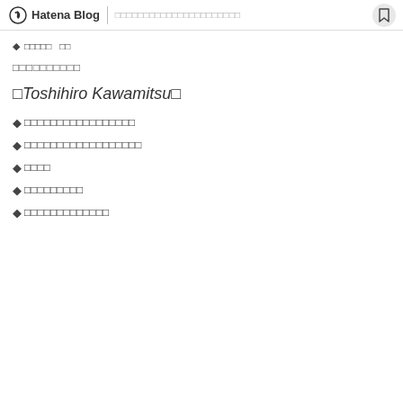Hatena Blog | □□□□□□□□□□□□□□□□□□□□□□
◆□□□□□　□□
□□□□□□□□□□
□Toshihiro Kawamitsu□
◆□□□□□□□□□□□□□□□□□
◆□□□□□□□□□□□□□□□□□□
◆□□□□
◆□□□□□□□□□
◆□□□□□□□□□□□□□